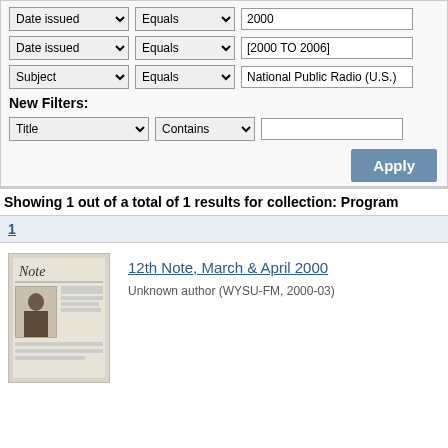Date issued Equals 2000
Date issued Equals [2000 TO 2006]
Subject Equals National Public Radio (U.S.)
New Filters:
Title Contains (empty)
Apply
Showing 1 out of a total of 1 results for collection: Program
1
[Figure (photo): Thumbnail image of document titled 12th Note, March & April 2000]
12th Note, March & April 2000
Unknown author (WYSU-FM, 2000-03)